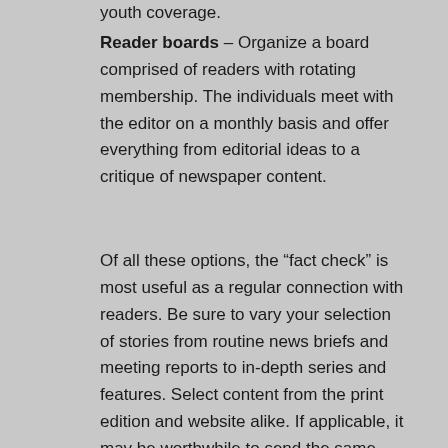youth coverage.
Reader boards – Organize a board comprised of readers with rotating membership. The individuals meet with the editor on a monthly basis and offer everything from editorial ideas to a critique of newspaper content.
Of all these options, the “fact check” is most useful as a regular connection with readers. Be sure to vary your selection of stories from routine news briefs and meeting reports to in-depth series and features. Select content from the print edition and website alike. If applicable, it may be worthwhile to send the same story to two different individuals to see if they offer similar perspectives on the report.